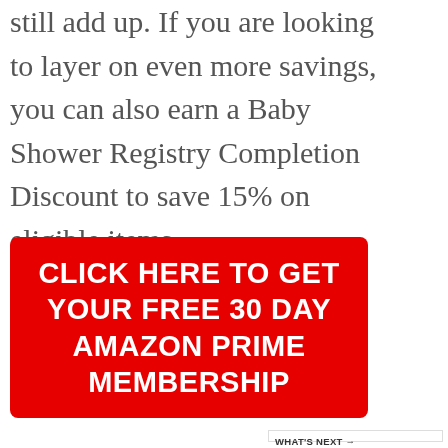still add up. If you are looking to layer on even more savings, you can also earn a Baby Shower Registry Completion Discount to save 15% on eligible items.
[Figure (infographic): Red button/banner with white bold text: CLICK HERE TO GET YOUR FREE 30 DAY AMAZON PRIME MEMBERSHIP]
[Figure (other): Right sidebar with heart icon (teal circle, 241 count), and share icon. Below: WHAT'S NEXT arrow widget with thumbnail image and text '50 Unique Star Wars Gifts f...']